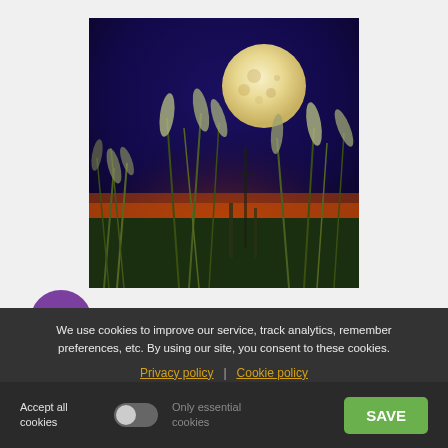[Figure (photo): Full moon rising over tall grass/reeds at dusk with orange-red horizon and dark blue sky]
Harvest Moon 10/09/22
We use cookies to improve our service, track analytics, remember preferences, etc. By using our site, you consent to these cookies.
Privacy policy | Cookie policy
Accept all cookies
Only essential cookies
SAVE